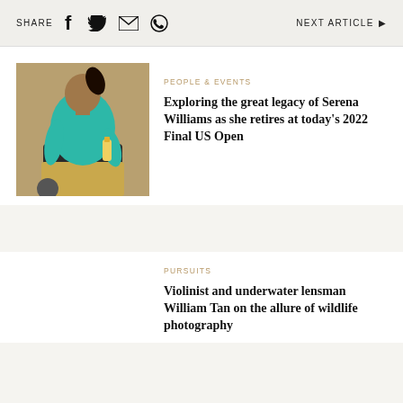SHARE  [facebook] [twitter] [email] [whatsapp]   NEXT ARTICLE ▶
[Figure (photo): Serena Williams in teal athletic jacket sitting on a box in a gym, holding a water bottle]
PEOPLE & EVENTS
Exploring the great legacy of Serena Williams as she retires at today's 2022 Final US Open
PURSUITS
Violinist and underwater lensman William Tan on the allure of wildlife photography